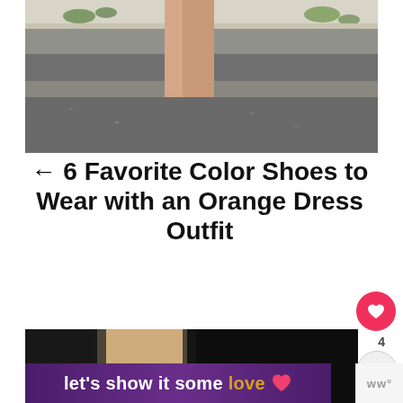[Figure (photo): Close-up photo of person's legs wearing nude/beige pointed-toe heels, walking on pavement with greenery/wall in background]
← 6 Favorite Color Shoes to Wear with an Orange Dress Outfit
[Figure (photo): Partial photo showing person's leg with nude heel against dark/black fabric background]
[Figure (infographic): Purple banner with text 'let's show it some love' with heart graphic and Woo logo]